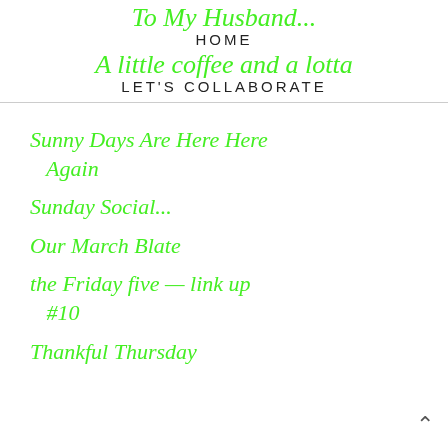To My Husband...
HOME
A little coffee and a lotta
LET'S COLLABORATE
Sunny Days Are Here Again
Sunday Social...
Our March Blate
the Friday five — link up #10
Thankful Thursday